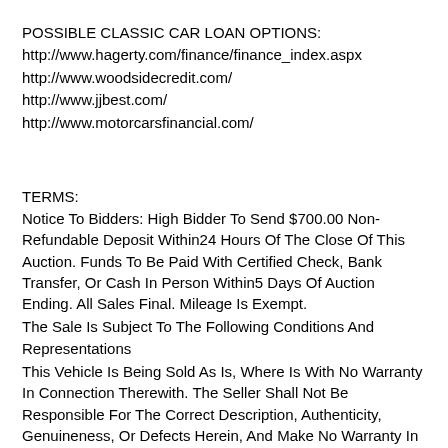POSSIBLE CLASSIC CAR LOAN OPTIONS:
http://www.hagerty.com/finance/finance_index.aspx
http://www.woodsidecredit.com/
http://www.jjbest.com/
http://www.motorcarsfinancial.com/
TERMS:
Notice To Bidders: High Bidder To Send $700.00 Non-Refundable Deposit Within24 Hours Of The Close Of This Auction. Funds To Be Paid With Certified Check, Bank Transfer, Or Cash In Person Within5 Days Of Auction Ending. All Sales Final. Mileage Is Exempt.
The Sale Is Subject To The Following Conditions And Representations
This Vehicle Is Being Sold As Is, Where Is With No Warranty In Connection Therewith. The Seller Shall Not Be Responsible For The Correct Description, Authenticity, Genuineness, Or Defects Herein, And Make No Warranty In Connection Therewith. No Allowance Or Set Aside Will Be Made On Account Of A...